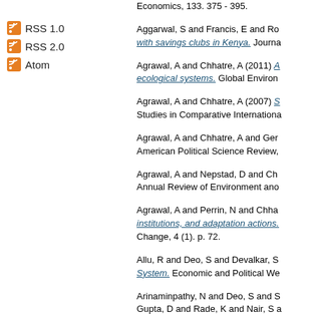RSS 1.0
RSS 2.0
Atom
Economics, 133. 375 - 395.
Aggarwal, S and Francis, E and Ro... with savings clubs in Kenya. Journa...
Agrawal, A and Chhatre, A (2011) A... ecological systems. Global Environ...
Agrawal, A and Chhatre, A (2007) S... Studies in Comparative Internationa...
Agrawal, A and Chhatre, A and Ger... American Political Science Review,...
Agrawal, A and Nepstad, D and Ch... Annual Review of Environment ano...
Agrawal, A and Perrin, N and Chha... institutions, and adaptation actions. Change, 4 (1). p. 72.
Allu, R and Deo, S and Devalkar, S... System. Economic and Political We...
Arinaminpathy, N and Deo, S and S... Gupta, D and Rade, K and Nair, S ... engagement on tuberculosis contro...
Batra, R K and Ghoshal, T (2017) R... Sensory Consumption. Journal of C...